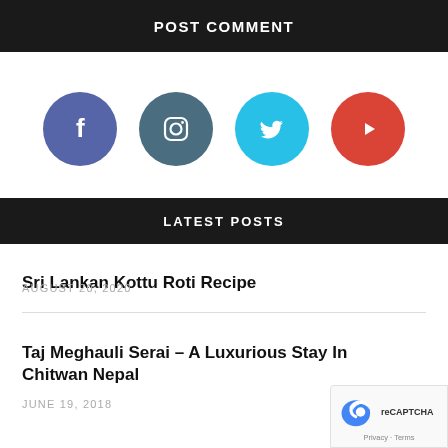POST COMMENT
[Figure (other): Row of four social media icon circles: Facebook (purple-blue), Instagram (dark teal), Twitter (cyan), YouTube (red)]
LATEST POSTS
Sri Lankan Kottu Roti Recipe
AUGUST 20, 2020
Taj Meghauli Serai – A Luxurious Stay In Chitwan Nepal
JUNE 19, 2018